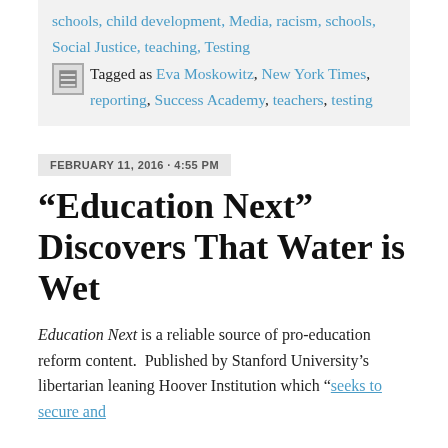schools, child development, Media, racism, schools, Social Justice, teaching, Testing
Tagged as Eva Moskowitz, New York Times, reporting, Success Academy, teachers, testing
FEBRUARY 11, 2016 · 4:55 PM
“Education Next” Discovers That Water is Wet
Education Next is a reliable source of pro-education reform content.  Published by Stanford University’s libertarian leaning Hoover Institution which “seeks to secure and